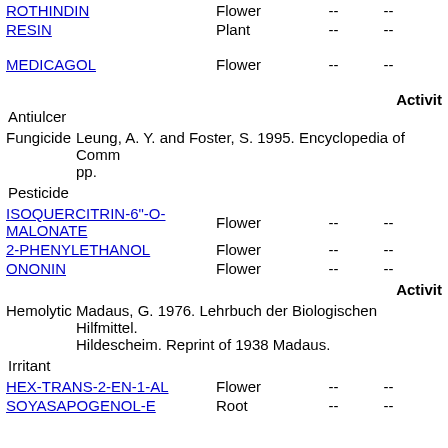| Name | Part | -- | -- |
| --- | --- | --- | --- |
| ROTHINDIN | Flower | -- | -- |
| RESIN | Plant | -- | -- |
| MEDICAGOL | Flower | -- | -- |
Activit
Antiulcer
Fungicide
Leung, A. Y. and Foster, S. 1995. Encyclopedia of Comm pp.
Pesticide
| Name | Part | -- | -- |
| --- | --- | --- | --- |
| ISOQUERCITRIN-6"-O-MALONATE | Flower | -- | -- |
| 2-PHENYLETHANOL | Flower | -- | -- |
| ONONIN | Flower | -- | -- |
Activit
Hemolytic
Madaus, G. 1976. Lehrbuch der Biologischen Hilfmittel. Hildescheim. Reprint of 1938 Madaus.
Irritant
| Name | Part | -- | -- |
| --- | --- | --- | --- |
| HEX-TRANS-2-EN-1-AL | Flower | -- | -- |
| SOYASAPOGENOL-E | Root | -- | -- |